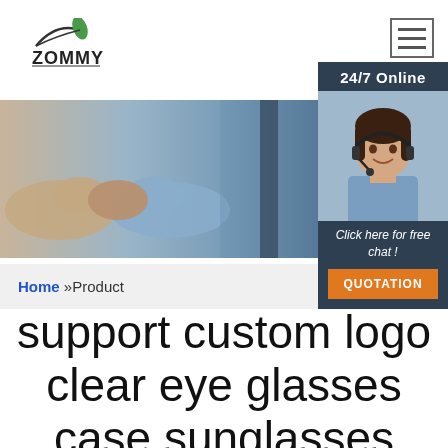[Figure (logo): ZOMMY logo with leaf/arc graphic above the text]
[Figure (other): Hamburger menu icon (three horizontal bars) in a bordered box]
[Figure (other): 24/7 Online support panel with agent photo, 'Click here for free chat!' text and orange QUOTATION button]
[Figure (photo): CONTACT US banner showing two people shaking hands in an office setting]
Home »Product
support custom logo clear eye glasses case sunglasses case